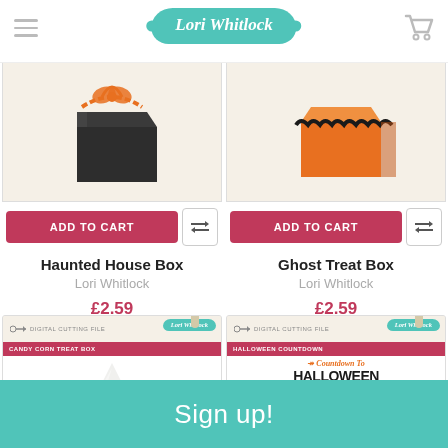Lori Whitlock
[Figure (photo): Haunted House Box product - dark gift box with orange ribbon on tan background]
ADD TO CART
Haunted House Box
Lori Whitlock
£2.59
[Figure (photo): Ghost Treat Box product - orange gift box with black trim on tan background]
ADD TO CART
Ghost Treat Box
Lori Whitlock
£2.59
[Figure (photo): Candy Corn Treat Box digital cutting file packaging - candy corn shape illustration]
[Figure (photo): Halloween Countdown digital cutting file packaging - countdown to Halloween calendar with numbers 1-21]
Sign up!